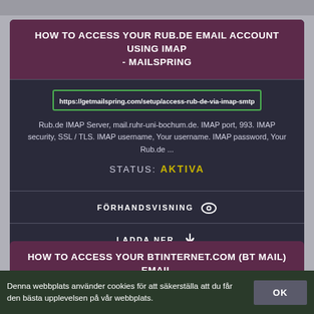HOW TO ACCESS YOUR RUB.DE EMAIL ACCOUNT USING IMAP - MAILSPRING
https://getmailspring.com/setup/access-rub-de-via-imap-smtp
Rub.de IMAP Server, mail.ruhr-uni-bochum.de. IMAP port, 993. IMAP security, SSL / TLS. IMAP username, Your username. IMAP password, Your Rub.de ...
STATUS: AKTIVA
FÖRHANDSVISNING 👁
LADDA NER ⬇
HOW TO ACCESS YOUR BTINTERNET.COM (BT MAIL) EMAIL
Denna webbplats använder cookies för att säkerställa att du får den bästa upplevelsen på vår webbplats.
OK